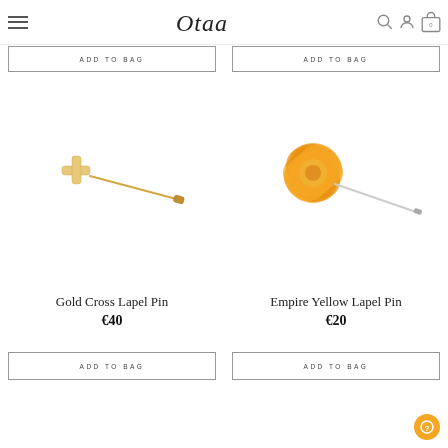Otaa
ADD TO BAG
ADD TO BAG
[Figure (photo): Gold cross lapel pin — a small gold cross charm on a long gold pin]
[Figure (photo): Empire Yellow Lapel Pin — an orange/yellow fabric flower on a long silver pin]
Gold Cross Lapel Pin
€40
Empire Yellow Lapel Pin
€20
ADD TO BAG
ADD TO BAG